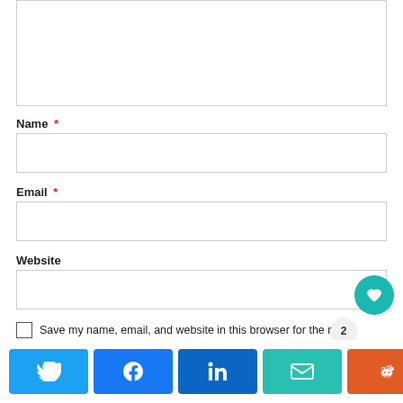[Figure (screenshot): Comment form with text area (partially visible at top), Name field with red asterisk, Email field with red asterisk, Website field, Save my name checkbox and label, and a social sharing bar at the bottom with Twitter, Facebook, LinkedIn, Email, Reddit buttons and a share count overlay showing 3 SHARES and heart/like button.]
Name *
Email *
Website
Save my name, email, and website in this browser for the ne